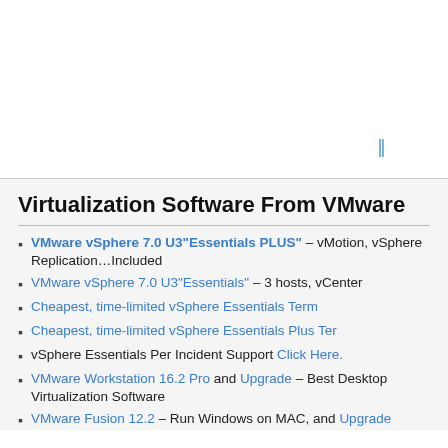[Figure (other): White content area with a small scroll/cursor icon in the lower right, representing a webpage advertisement or embedded content block]
Virtualization Software From VMware
VMware vSphere 7.0 U3"Essentials PLUS" – vMotion, vSphere Replication…Included
VMware vSphere 7.0 U3"Essentials" – 3 hosts, vCenter
Cheapest, time-limited vSphere Essentials Term
Cheapest, time-limited vSphere Essentials Plus Term
vSphere Essentials Per Incident Support Click Here.
VMware Workstation 16.2 Pro and Upgrade – Best Desktop Virtualization Software
VMware Fusion 12.2 – Run Windows on MAC, and Upgrade